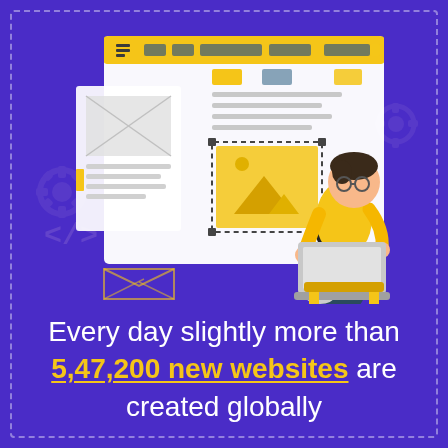[Figure (illustration): Infographic illustration on a purple background. A person in a yellow shirt sits on a stool using a laptop. Behind them is a large white browser/design window showing wireframe layout elements, image placeholders, and a dashed selection box with a cursor. Background has faint gear icons and code brackets. The overall color scheme is purple, yellow, white, and dark teal.]
Every day slightly more than 5,47,200 new websites are created globally